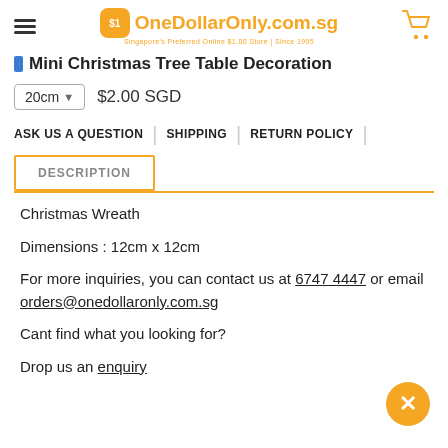OneDollarOnly.com.sg — Singapore's Preferred Online $1.00 Store | Since 1995
Mini Christmas Tree Table Decoration
20cm  $2.00 SGD
ASK US A QUESTION | SHIPPING | RETURN POLICY
DESCRIPTION
Christmas Wreath
Dimensions : 12cm x 12cm
For more inquiries, you can contact us at 6747 4447 or email orders@onedollaronly.com.sg
Cant find what you looking for?
Drop us an enquiry